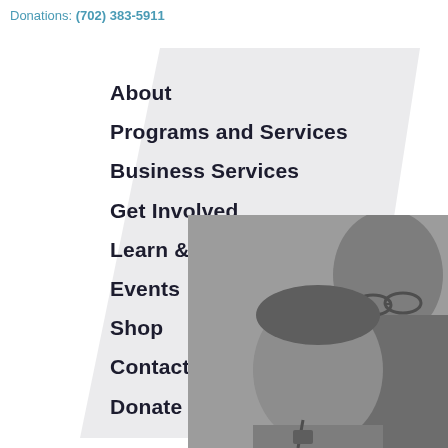Donations: (702) 383-5911
[Figure (illustration): Light gray parallelogram/polygon shape used as background for the navigation menu]
About
Programs and Services
Business Services
Get Involved
Learn & Connect
Events
Shop
Contact Us
Donate
[Figure (photo): Black and white photograph of two people, an adult wearing glasses hugging a child or young person with Down syndrome, both smiling, in the lower right portion of the page]